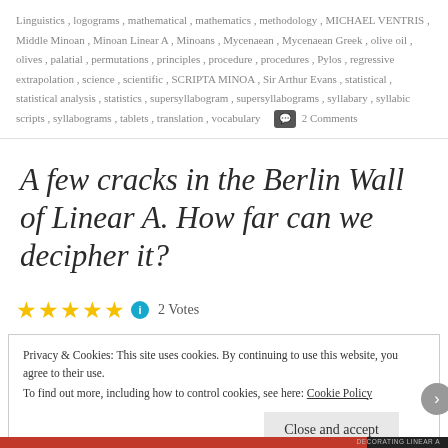Linguistics, logograms, mathematical, mathematics, methodology, MICHAEL VENTRIS, Middle Minoan, Minoan Linear A, Minoans, Mycenaean, Mycenaean Greek, olive oil, olives, palatial, permutations, principles, procedure, procedures, Pylos, regressive extrapolation, science, scientific, SCRIPTA MINOA, Sir Arthur Evans, statistical, statistical analysis, statistics, supersyllabogram, supersyllabograms, syllabary, syllabic scripts, syllabograms, tablets, translation, vocabulary   💬 2 Comments
A few cracks in the Berlin Wall of Linear A. How far can we decipher it?
★★★★★ ℹ 2 Votes
Privacy & Cookies: This site uses cookies. By continuing to use this website, you agree to their use. To find out more, including how to control cookies, see here: Cookie Policy
Close and accept